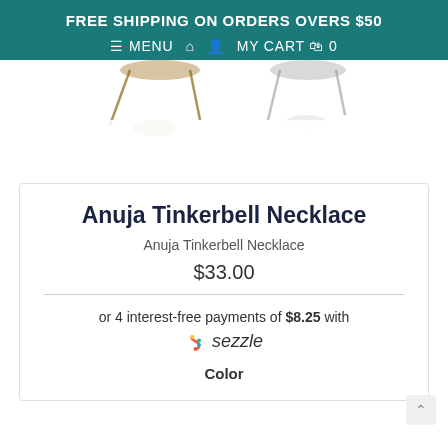FREE SHIPPING ON ORDERS OVERS $50
≡ MENU 🏠 👤 MY CART 🛍 0
[Figure (photo): Two necklace product images partially visible at top of page]
Anuja Tinkerbell Necklace
Anuja Tinkerbell Necklace
$33.00
or 4 interest-free payments of $8.25 with sezzle
Color